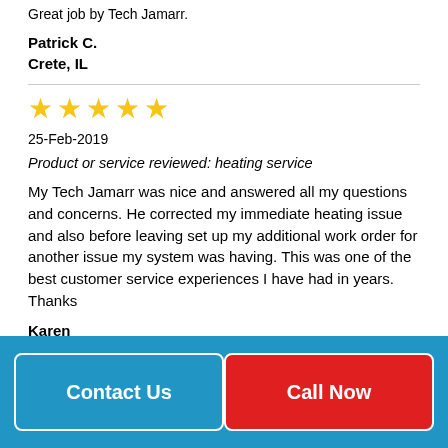Great job by Tech Jamarr.
Patrick C.
Crete, IL
[Figure (other): 5 yellow stars rating]
25-Feb-2019
Product or service reviewed: heating service
My Tech Jamarr was nice and answered all my questions and concerns. He corrected my immediate heating issue and also before leaving set up my additional work order for another issue my system was having. This was one of the best customer service experiences I have had in years. Thanks
Karen
Chicago, IL